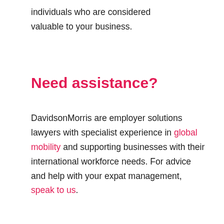individuals who are considered valuable to your business.
Need assistance?
DavidsonMorris are employer solutions lawyers with specialist experience in global mobility and supporting businesses with their international workforce needs. For advice and help with your expat management, speak to us.